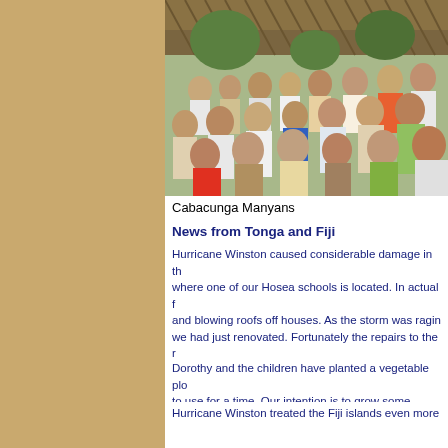[Figure (photo): Group photo of Cabacunga Manyans community members including adults and children gathered under a thatched roof structure outdoors.]
Cabacunga Manyans
News from Tonga and Fiji
Hurricane Winston caused considerable damage in the where one of our Hosea schools is located. In actual f and blowing roofs off houses. As the storm was ragin we had just renovated. Fortunately the repairs to the r withstood the winds. The school building had an old s were the only school that could open its doors almost straight afterwards, firmly believing that the school b
Dorothy and the children have planted a vegetable plo to use for a time. Our intention is to grow some veget
Hurricane Winston treated the Fiji islands even more